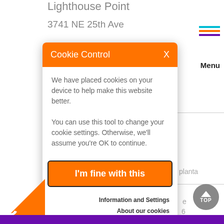Lighthouse Point
3741 NE 25th Ave
[Figure (screenshot): Cookie Control modal dialog with orange header, close X button, text about cookies, 'I'm fine with this' button, and links to 'Information and Settings' and 'About our cookies']
planta
e
6
Menu